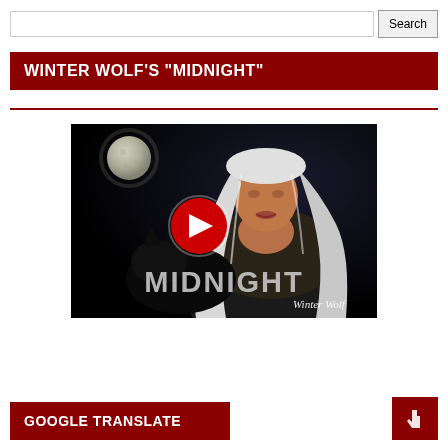Search
WINTER WOLF'S "MIDNIGHT"
[Figure (screenshot): YouTube video thumbnail for 'Midnight' by Winter Wolf. Shows a woman with long silver/white hair against a dark background with a moon visible. A YouTube play button (red circle with white triangle) is overlaid in the center. The text 'MIDNIGHT' appears in large gray letters at the bottom, with 'Winter Wolf' in italic white text to the right.]
GOOGLE TRANSLATE